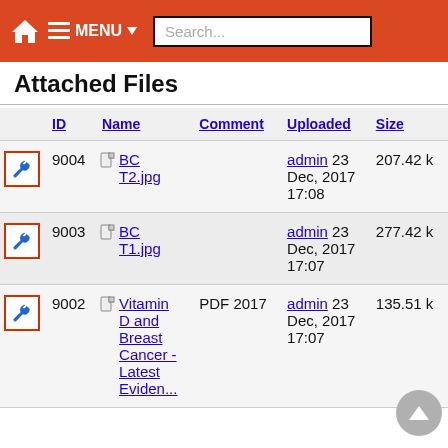Home / MENU / Search...
Attached Files
|  | ID | Name | Comment | Uploaded | Size |
| --- | --- | --- | --- | --- | --- |
| [wrench] | 9004 | BC T2.jpg |  | admin 23 Dec, 2017 17:08 | 207.42 k |
| [wrench] | 9003 | BC T1.jpg |  | admin 23 Dec, 2017 17:07 | 277.42 k |
| [wrench] | 9002 | Vitamin D and Breast Cancer - Latest Evidence | PDF 2017 | admin 23 Dec, 2017 17:07 | 135.51 k |